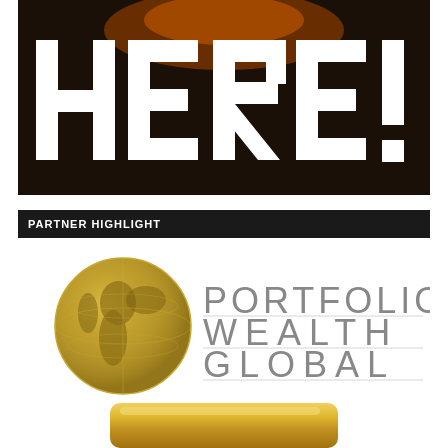[Figure (illustration): Large bold text 'HERE!' in white block letters on a dark/black background with a dramatic image behind it (flames or similar imagery). The text is very large, filling the width of a rectangular banner at the top of the page.]
PARTNER HIGHLIGHT
[Figure (logo): Portfolio Wealth Global logo: a golden globe/earth illustration on the left, and the text 'PORTFOLIO WEALTH GLOBAL' in large grey letters on the right, arranged in three lines with horizontal dividers between each word.]
[Figure (photo): Bottom portion of a gold-colored rounded rectangular object (appears to be a gold bar) partially visible at the very bottom of the page.]